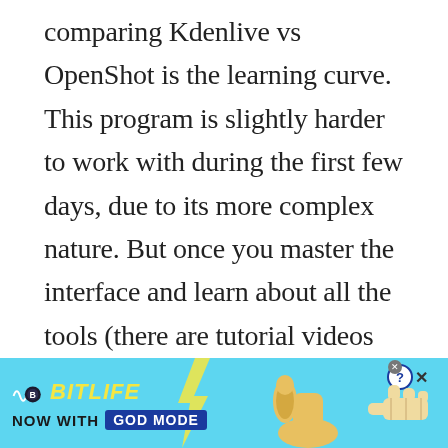comparing Kdenlive vs OpenShot is the learning curve. This program is slightly harder to work with during the first few days, due to its more complex nature. But once you master the interface and learn about all the tools (there are tutorial videos online), you'll be able to produce professional-grade content with relative ease. This editing software is based on the MLT framework, Qt, and KDE. It's absolutely free for Windows, Mac, FreeBSD, and the source code is freely available under the rules of the GNU
[Figure (infographic): BitLife advertisement banner with light blue background. Shows BitLife logo with yellow italic text, 'NOW WITH GOD MODE' text with blue badge, lightning bolt graphic, thumbs-up hand illustration, and pointing hand illustration. Close and help buttons in top right corner.]